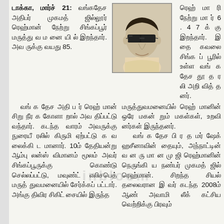டாக்கா, மார்ச் 21: வங்கதேச அதிபர் முகமத் ஜில்லூர் ரெஹ்மான் நேற்று சிங்கப்பூர் மருத்துவ மனையில் இறந்தார். அவருக்கு வயது 85.
[Figure (photo): Portrait photo of Zillur Rahman wearing sunglasses]
ரெஹ் மா நேற்று மா 6 . 4 7 க இறந்தார். இ கவலை சிங் பூரில் உள்ள கதேச து அறி வித்த
வங்கதேச அதிபர் ரெஹ்மான் சிறு நீரக கோளாறால் அவதிப்பட்டு வந்தார். கடந்த வாரம் அவருக்கு நுரையீரலில் கிருமி ஏற்பட்டு கவலைக்கிடமானார். 10ம் தேதியன்று ஆம்புலன்ஸ் விமானம் மூலம் அவர் சிங்கப்பூருக்கு கொண்டு செல்லப்பட்டு, மவுண்ட் எலிசபெத் மருத்துவமனையில் சேர்க்கப்பட்டார். அங்கு திவிர சிகிட்சையில் இருந்த
மருத்துவமனையில் ரெஹ்மானின் ஒரே மகனும் மகள்கள், உறவினர்கள் இருந்தனர். வங்கதேச பிரதமர் ஷேக் ஹசீனாவின் தையும், அந்நாட்டின் வனருமான முஜிரெஹ்மானின் நெருங்கிய நண்பர் முகமத் ஜில்ரெஹ்மான். சிறந்த சியல் தலைவரான இவர் கடந்த 2008ம் ஆண்டு அவாமி லீக் கட்சிய வெற்றிக்கு பிரவும்